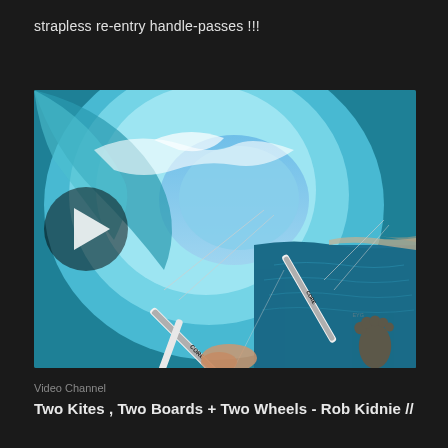strapless re-entry handle-passes !!!
[Figure (photo): Video thumbnail showing a fisheye/wide-angle perspective from inside a breaking ocean wave during kiteboarding. A kite bar and lines branded 'CORE' are visible in the foreground. Blue sky and a coastline visible through the wave barrel. A footprint logo watermark appears in the bottom right corner. A semi-transparent play button (triangle) is overlaid on the left side of the image.]
Video Channel
Two Kites , Two Boards + Two Wheels - Rob Kidnie //